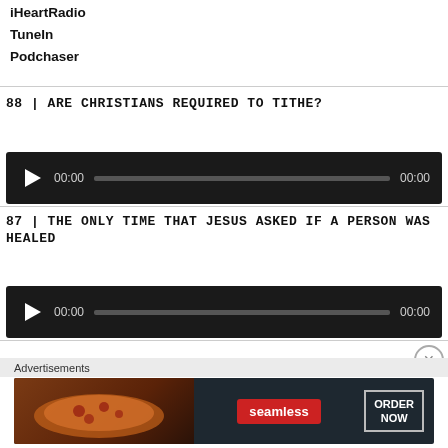iHeartRadio
TuneIn
Podchaser
88 | ARE CHRISTIANS REQUIRED TO TITHE?
[Figure (other): Audio player with play button, 00:00 time, progress bar, and 00:00 duration for episode 88]
87 | THE ONLY TIME THAT JESUS ASKED IF A PERSON WAS HEALED
[Figure (other): Audio player with play button, 00:00 time, progress bar, and 00:00 duration for episode 87]
Advertisements
[Figure (photo): Seamless food delivery advertisement banner featuring pizza image, Seamless logo in red, and ORDER NOW button]